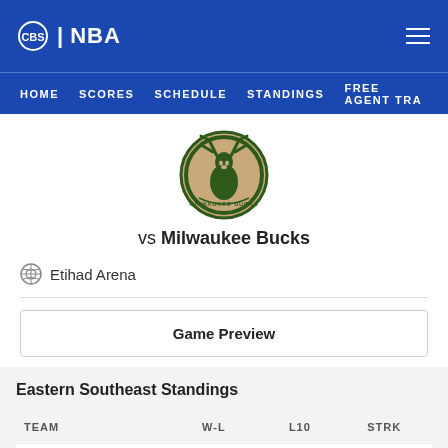CBS | NBA
HOME  SCORES  SCHEDULE  STANDINGS  FREE AGENT TRA
[Figure (logo): Milwaukee Bucks team logo - circular badge with deer/antlers]
vs Milwaukee Bucks
Etihad Arena
Game Preview
Eastern Southeast Standings
| TEAM | W-L | L10 | STRK |
| --- | --- | --- | --- |
| MIA | 53-29 | 6-4 | L1 |